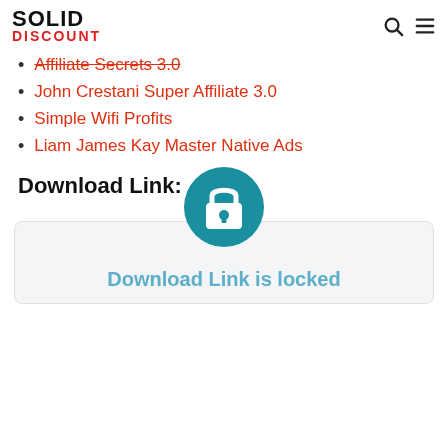SOLID DISCOUNT
Affiliate Secrets 3.0
John Crestani Super Affiliate 3.0
Simple Wifi Profits
Liam James Kay Master Native Ads
Download Link:
[Figure (illustration): Teal circular lock icon indicating locked download link]
Download Link is locked